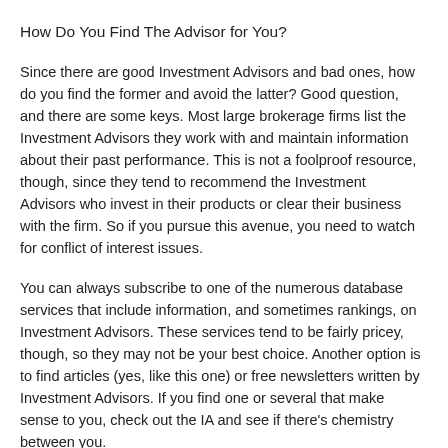How Do You Find The Advisor for You?
Since there are good Investment Advisors and bad ones, how do you find the former and avoid the latter? Good question, and there are some keys. Most large brokerage firms list the Investment Advisors they work with and maintain information about their past performance. This is not a foolproof resource, though, since they tend to recommend the Investment Advisors who invest in their products or clear their business with the firm. So if you pursue this avenue, you need to watch for conflict of interest issues.
You can always subscribe to one of the numerous database services that include information, and sometimes rankings, on Investment Advisors. These services tend to be fairly pricey, though, so they may not be your best choice. Another option is to find articles (yes, like this one) or free newsletters written by Investment Advisors. If you find one or several that make sense to you, check out the IA and see if there's chemistry between you.